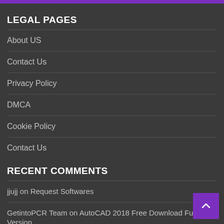LEGAL PAGES
About US
Contact Us
Privacy Policy
DMCA
Cookie Policy
Contact Us
RECENT COMMENTS
jjujj on Request Softwares
GetintoPCR Team on AutoCAD 2018 Free Download Full Version
job on Microsoft Office 2010 Free Download Full Version [32-64] Bit
HARENDRA KUMAR on PTC Creo 5.0 Free Download